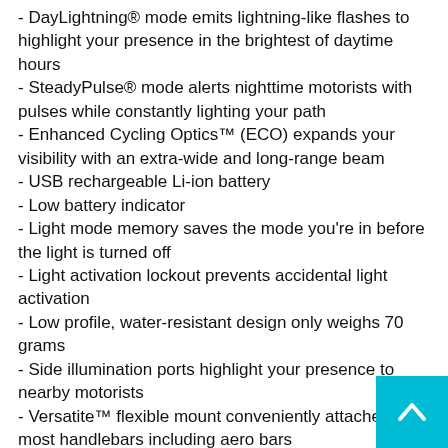- DayLightning® mode emits lightning-like flashes to highlight your presence in the brightest of daytime hours
- SteadyPulse® mode alerts nighttime motorists with pulses while constantly lighting your path
- Enhanced Cycling Optics™ (ECO) expands your visibility with an extra-wide and long-range beam
- USB rechargeable Li-ion battery
- Low battery indicator
- Light mode memory saves the mode you're in before the light is turned off
- Light activation lockout prevents accidental light activation
- Low profile, water-resistant design only weighs 70 grams
- Side illumination ports highlight your presence to nearby motorists
- Versatite™ flexible mount conveniently attaches most handlebars including aero bars